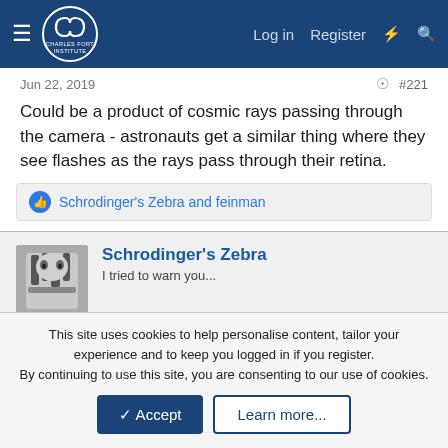Charles Fort Institute — Log in | Register
Jun 22, 2019  #221
Could be a product of cosmic rays passing through the camera - astronauts get a similar thing where they see flashes as the rays pass through their retina.
Schrodinger's Zebra and feinman
Schrodinger's Zebra
I tried to warn you...
Jun 22, 2019  #222
Yes but why... forgive my ignorance... would it be seen in one camera lens and not the other? I guess the two use a slightly
This site uses cookies to help personalise content, tailor your experience and to keep you logged in if you register.
By continuing to use this site, you are consenting to our use of cookies.